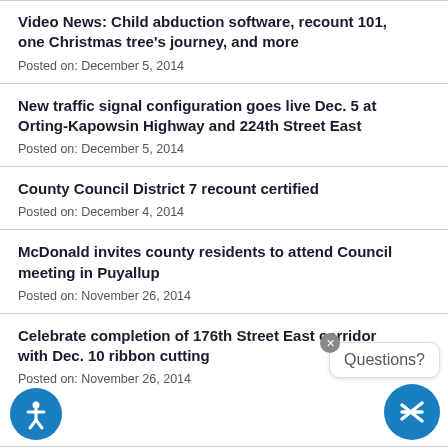Video News: Child abduction software, recount 101, one Christmas tree's journey, and more
Posted on: December 5, 2014
New traffic signal configuration goes live Dec. 5 at Orting-Kapowsin Highway and 224th Street East
Posted on: December 5, 2014
County Council District 7 recount certified
Posted on: December 4, 2014
McDonald invites county residents to attend Council meeting in Puyallup
Posted on: November 26, 2014
Celebrate completion of 176th Street East corridor with Dec. 10 ribbon cutting
Posted on: November 26, 2014
Free Uber ride home avoids a DUI in Tacoma on Black